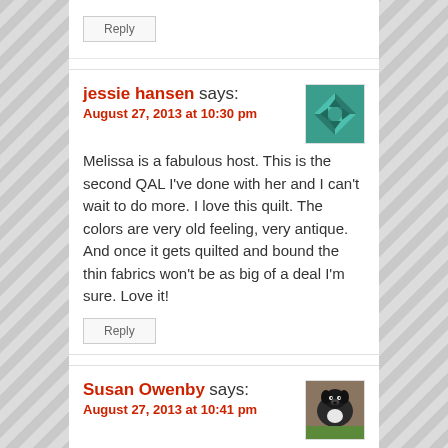Reply
jessie hansen says:
August 27, 2013 at 10:30 pm
Melissa is a fabulous host. This is the second QAL I've done with her and I can't wait to do more. I love this quilt. The colors are very old feeling, very antique. And once it gets quilted and bound the thin fabrics won't be as big of a deal I'm sure. Love it!
Reply
Susan Owenby says:
August 27, 2013 at 10:41 pm
wow! that came together fast. I think it is lovely and will be pop